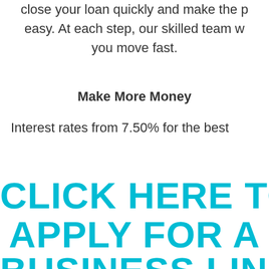close your loan quickly and make the process easy. At each step, our skilled team will help you move fast.
Make More Money
Interest rates from 7.50% for the best
CLICK HERE TO APPLY FOR A BUSINESS LINE